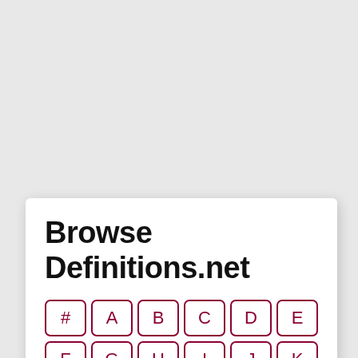Browse Definitions.net
[Figure (other): Alphabet navigation grid with keys: #, A, B, C, D, E, F, G, H, I, J, K, L, M, N, O, P, Q shown as dark red bordered rounded square buttons on white background]